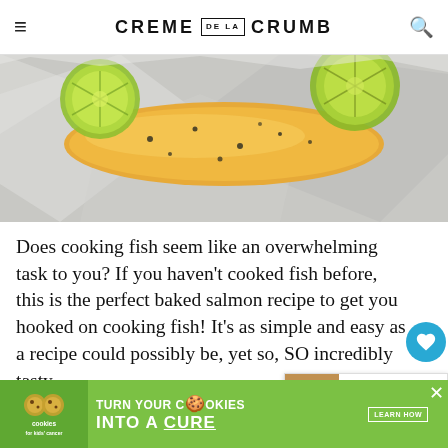CREME DE LA CRUMB
[Figure (photo): Close-up photo of baked salmon in foil with lime slices and herbs, showing golden-orange fish with black pepper seasoning on crinkled aluminum foil]
Does cooking fish seem like an overwhelming task to you? If you haven't cooked fish before, this is the perfect baked salmon recipe to get you hooked on cooking fish! It's as simple and easy as a recipe could possibly be, yet so, SO incredibly tasty.
How tasty you ask? Tasty enough to make my father say it's as good, or even better, than the best restaurant salmon...